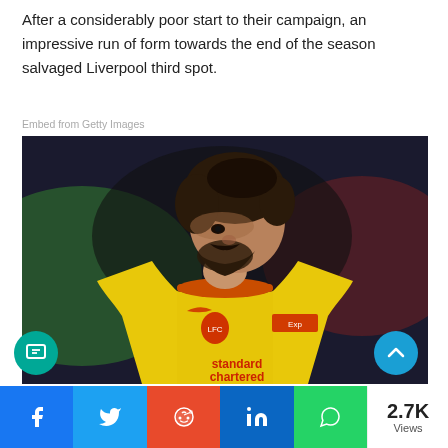After a considerably poor start to their campaign, an impressive run of form towards the end of the season salvaged Liverpool third spot.
Embed from Getty Images
[Figure (photo): A footballer wearing a yellow Liverpool kit with 'standard chartered' sponsor, looking downward, in a stadium setting.]
2.7K Views — Share bar with Facebook, Twitter, Reddit, LinkedIn, WhatsApp